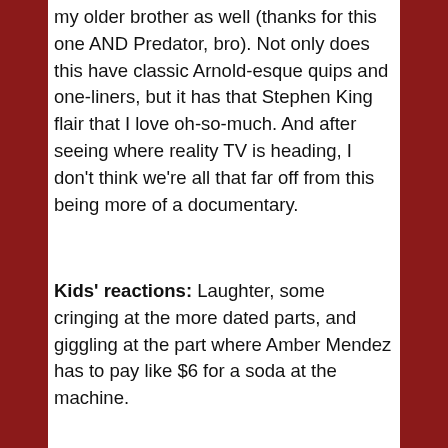my older brother as well (thanks for this one AND Predator, bro). Not only does this have classic Arnold-esque quips and one-liners, but it has that Stephen King flair that I love oh-so-much. And after seeing where reality TV is heading, I don't think we're all that far off from this being more of a documentary.
Kids' reactions: Laughter, some cringing at the more dated parts, and giggling at the part where Amber Mendez has to pay like $6 for a soda at the machine.
[Figure (photo): Red book cover with a scythe silhouette and text reading 'From the author of CARRIE, THE SHINING, THE DEAD ZONE, and CHRISTINE...']